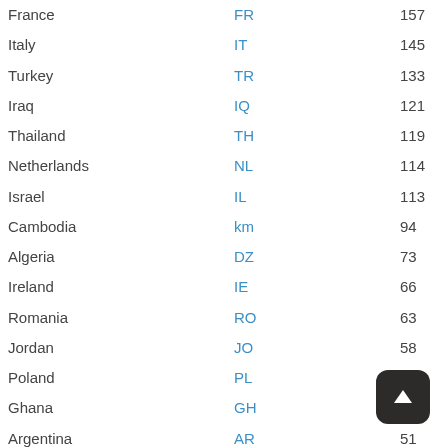| Country | Code | Value |
| --- | --- | --- |
| France | FR | 157 |
| Italy | IT | 145 |
| Turkey | TR | 133 |
| Iraq | IQ | 121 |
| Thailand | TH | 119 |
| Netherlands | NL | 114 |
| Israel | IL | 113 |
| Cambodia | km | 94 |
| Algeria | DZ | 73 |
| Ireland | IE | 66 |
| Romania | RO | 63 |
| Jordan | JO | 58 |
| Poland | PL | 56 |
| Ghana | GH | 54 |
| Argentina | AR | 51 |
| South Africa | ZA | 46 |
| Belgium | BE | 43 |